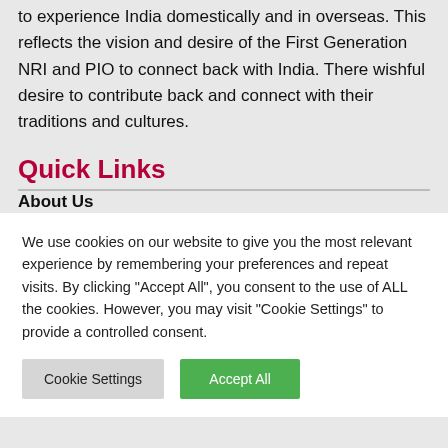to experience India domestically and in overseas. This reflects the vision and desire of the First Generation NRI and PIO to connect back with India. There wishful desire to contribute back and connect with their traditions and cultures.
Quick Links
About Us
We use cookies on our website to give you the most relevant experience by remembering your preferences and repeat visits. By clicking "Accept All", you consent to the use of ALL the cookies. However, you may visit "Cookie Settings" to provide a controlled consent.